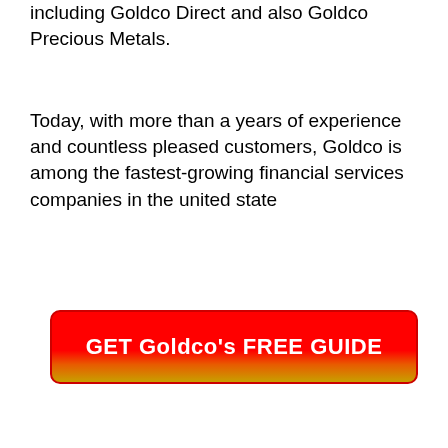including Goldco Direct and also Goldco Precious Metals.
Today, with more than a years of experience and countless pleased customers, Goldco is among the fastest-growing financial services companies in the united state
[Figure (other): Red-to-gold gradient call-to-action button with text: GET Goldco's FREE GUIDE]
Goldco provides precious metal Individual retirement accounts moneyed by gold and silver but for investors that wish to diversify the danger, the firm likewise gives platinum and also palladium. Furthermore, the business allows its customers to transform